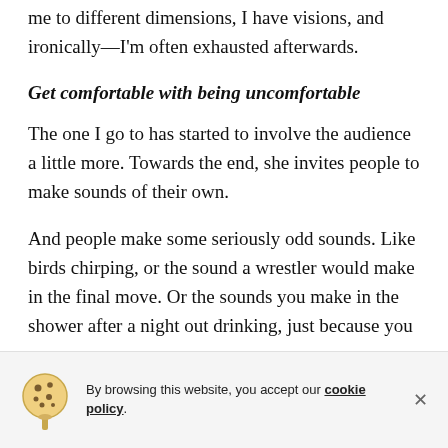me to different dimensions, I have visions, and ironically—I'm often exhausted afterwards.
Get comfortable with being uncomfortable
The one I go to has started to involve the audience a little more. Towards the end, she invites people to make sounds of their own.
And people make some seriously odd sounds. Like birds chirping, or the sound a wrestler would make in the final move. Or the sounds you make in the shower after a night out drinking, just because you can.
By browsing this website, you accept our cookie policy.